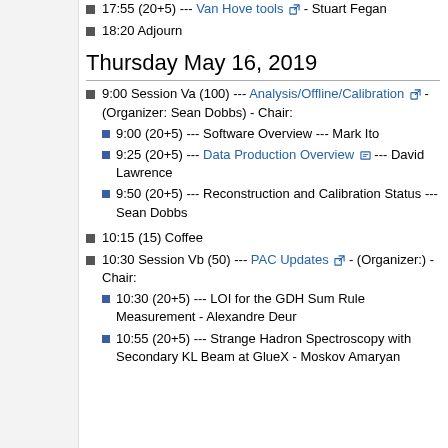17:55 (20+5) --- Van Hove tools - Stuart Fegan
18:20 Adjourn
Thursday May 16, 2019
9:00 Session Va (100) --- Analysis/Offline/Calibration - (Organizer: Sean Dobbs) - Chair:
9:00 (20+5) --- Software Overview --- Mark Ito
9:25 (20+5) --- Data Production Overview --- David Lawrence
9:50 (20+5) --- Reconstruction and Calibration Status --- Sean Dobbs
10:15 (15) Coffee
10:30 Session Vb (50) --- PAC Updates - (Organizer:) - Chair:
10:30 (20+5) --- LOI for the GDH Sum Rule Measurement - Alexandre Deur
10:55 (20+5) --- Strange Hadron Spectroscopy with Secondary KL Beam at GlueX - Moskov Amaryan